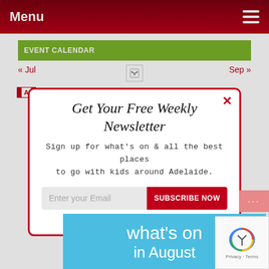Menu
EVENT CALENDAR
« Jul
Sep »
Get Your Free Weekly Newsletter
Sign up for what's on & all the best places to go with kids around Adelaide.
Enter your Email
SUBSCRIBE NOW
NO THANKS
what's on
in August